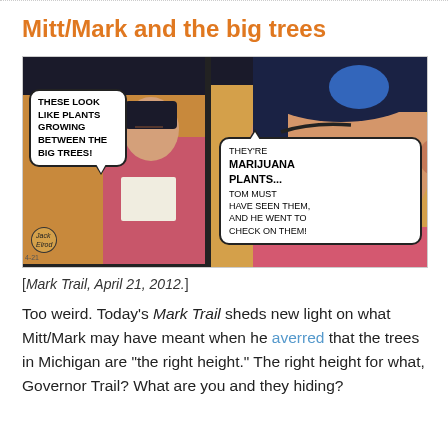Mitt/Mark and the big trees
[Figure (illustration): Two-panel comic strip from Mark Trail. Left panel: A man in a pink shirt holds papers and has a speech bubble reading 'THESE LOOK LIKE PLANTS GROWING BETWEEN THE BIG TREES!' with a signature reading 'Jack Elrod'. Right panel: Close-up of a dark-haired man with speech bubble reading 'THEY'RE MARIJUANA PLANTS... TOM MUST HAVE SEEN THEM, AND HE WENT TO CHECK ON THEM!']
[Mark Trail, April 21, 2012.]
Too weird. Today's Mark Trail sheds new light on what Mitt/Mark may have meant when he averred that the trees in Michigan are "the right height." The right height for what, Governor Trail? What are you and they hiding?